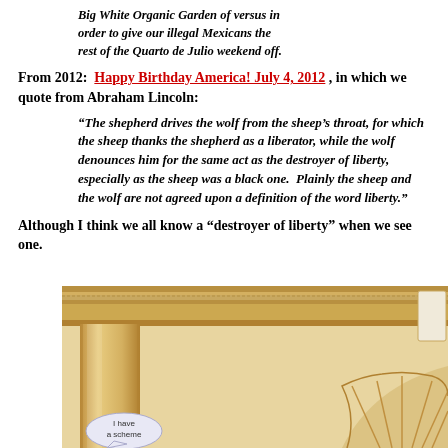Big White Organic Garden of versus in order to give our illegal Mexicans the rest of the Quarto de Julio weekend off.
From 2012: Happy Birthday America! July 4, 2012 , in which we quote from Abraham Lincoln:
“The shepherd drives the wolf from the sheep’s throat, for which the sheep thanks the shepherd as a liberator, while the wolf denounces him for the same act as the destroyer of liberty, especially as the sheep was a black one.  Plainly the sheep and the wolf are not agreed upon a definition of the word liberty.”
Although I think we all know a “destroyer of liberty” when we see one.
[Figure (photo): Photo of White House exterior architectural detail showing cornice molding, pillar, and decorative fan/shell arch. A speech bubble cartoon element reads 'I have a scheme' overlaid on the image.]